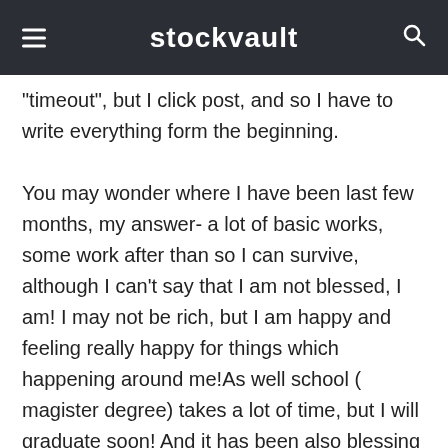stockvault
"timeout", but I click post, and so I have to write everything form the beginning.
You may wonder where I have been last few months, my answer- a lot of basic works, some work after than so I can survive, although I can't say that I am not blessed, I am! I may not be rich, but I am happy and feeling really happy for things which happening around me!As well school ( magister degree) takes a lot of time, but I will graduate soon! And it has been also blessing to me, since because of may hard studies, I now got 5x100 Eur scholarship. Since I spend most of money for basic things, I usually don't have too much for my hobbies, but I deiced to take this money aside and now I am like 75%